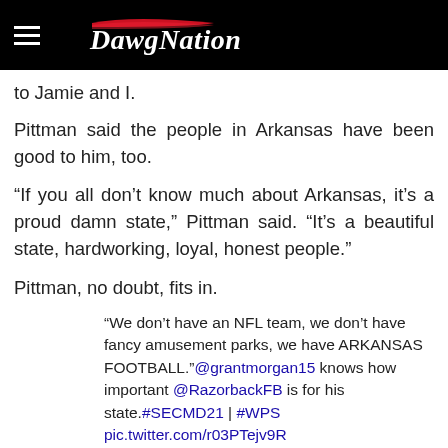DawgNation
to Jamie and I.
Pittman said the people in Arkansas have been good to him, too.
“If you all don’t know much about Arkansas, it’s a proud damn state,” Pittman said. “It’s a beautiful state, hardworking, loyal, honest people.”
Pittman, no doubt, fits in.
“We don’t have an NFL team, we don’t have fancy amusement parks, we have ARKANSAS FOOTBALL.”@grantmorgan15 knows how important @RazorbackFB is for his state.#SECMD21 | #WPS pic.twitter.com/r03PTejv9R — SEC Radio Network (@SEC_Radio) July 22, 2021